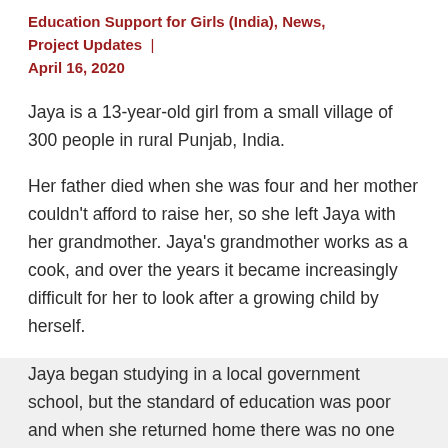Education Support for Girls (India), News, Project Updates | April 16, 2020
Jaya is a 13-year-old girl from a small village of 300 people in rural Punjab, India.
Her father died when she was four and her mother couldn't afford to raise her, so she left Jaya with her grandmother. Jaya's grandmother works as a cook, and over the years it became increasingly difficult for her to look after a growing child by herself.
Jaya began studying in a local government school, but the standard of education was poor and when she returned home there was no one who could help her with homework or give her care and attention. With the absence of proper health and